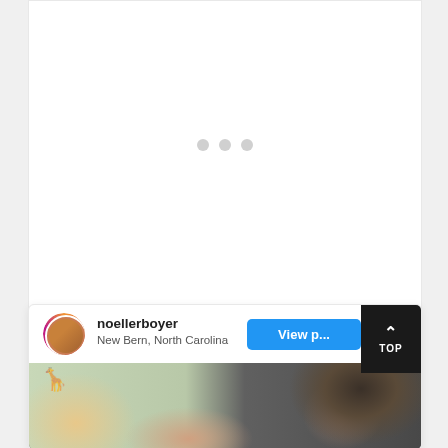[Figure (screenshot): White content area with three grey loading dots centered, indicating content loading state]
[Figure (screenshot): Social media card for Instagram user 'noellerboyer' from New Bern, North Carolina with a 'View p...' blue button and a black TOP button with up arrow. Below is a photo of a woman with curly grey-streaked hair lying next to a baby, with a giraffe nursery mural in the background.]
noellerboyer
New Bern, North Carolina
View p...
TOP